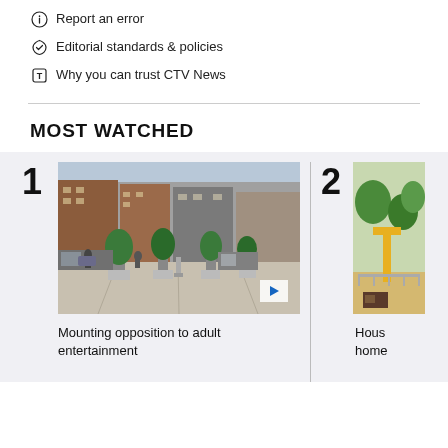Report an error
Editorial standards & policies
Why you can trust CTV News
MOST WATCHED
[Figure (photo): Street scene showing a pedestrian area with trees in planters, storefronts, and people walking. Play button overlay visible.]
Mounting opposition to adult entertainment
[Figure (photo): Partially visible outdoor scene, appears to show a park or construction area with green trees.]
Hous home